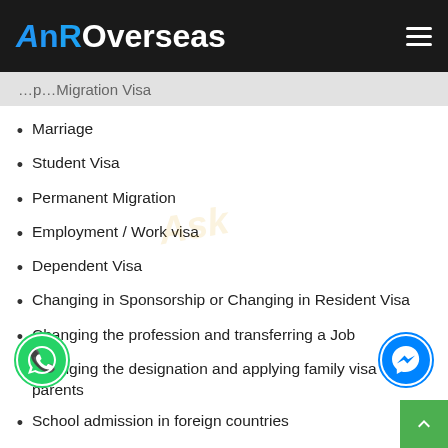AnROverseas
…p…Migration Visa
Marriage
Student Visa
Permanent Migration
Employment / Work visa
Dependent Visa
Changing in Sponsorship or Changing in Resident Visa
Changing the profession and transferring a Job
Changing the designation and applying family visa for parents
School admission in foreign countries
Changing the designation for family status and higher salary
Change of visa status in abroad